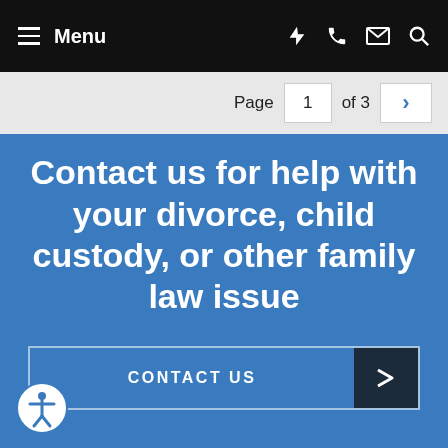Menu
Page 1 of 3
Contact us for help with your divorce, child custody, or other family law issue
CONTACT US